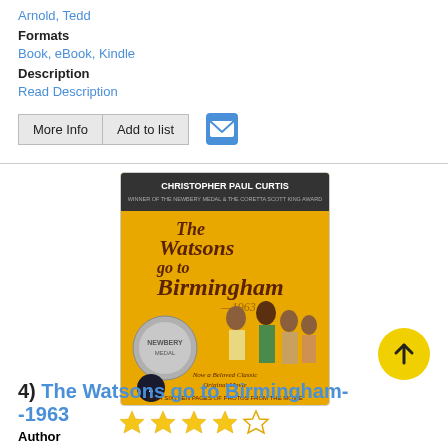Arnold, Tedd
Formats
Book, eBook, Kindle
Description
Read Description
[Figure (screenshot): Buttons: More Info, Add to list, and email icon]
[Figure (photo): Book cover: The Watsons go to Birmingham--1963 by Christopher Paul Curtis, yellow cover with family group and Newbery medal]
[Figure (other): 4 out of 5 stars rating (4 filled stars, 1 empty star)]
[Figure (other): Yellow circle scroll-up arrow button]
4)  The Watsons go to Birmingham--1963
Author